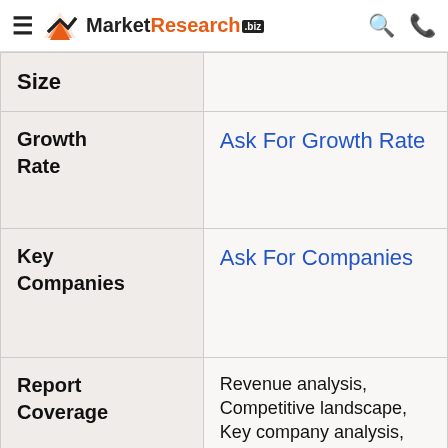MarketResearch.biz
| Field | Value |
| --- | --- |
| Size |  |
| Growth Rate | Ask For Growth Rate |
| Key Companies | Ask For Companies |
| Report Coverage | Revenue analysis, Competitive landscape, Key company analysis, Market Trends, Key segments, Distribution Channel, Market Dynamics, COVID-19 Impact Analysis and |